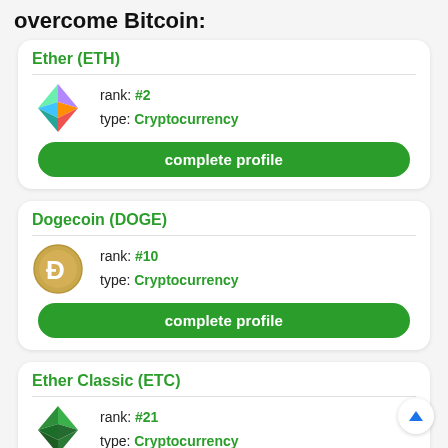overcome Bitcoin:
Ether (ETH)
rank: #2
type: Cryptocurrency
complete profile
Dogecoin (DOGE)
rank: #10
type: Cryptocurrency
complete profile
Ether Classic (ETC)
rank: #21
type: Cryptocurrency
complete profile